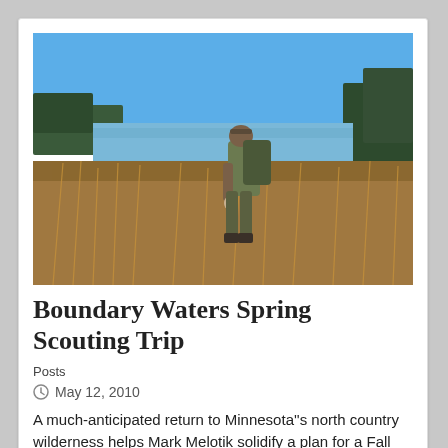[Figure (photo): Hunter in camouflage gear with backpack standing in dried marsh grass, looking toward a lake with trees in the background, clear blue sky above.]
Boundary Waters Spring Scouting Trip
Posts
May 12, 2010
A much-anticipated return to Minnesota''s north country wilderness helps Mark Melotik solidify a plan for a Fall 2010 bowhunt.
[Figure (infographic): Advertisement for ATN THOR LT Ultra Light Thermal Rifle Scope with SAVE $100 offer. Black background with red savings box on the right, scope image in center.]